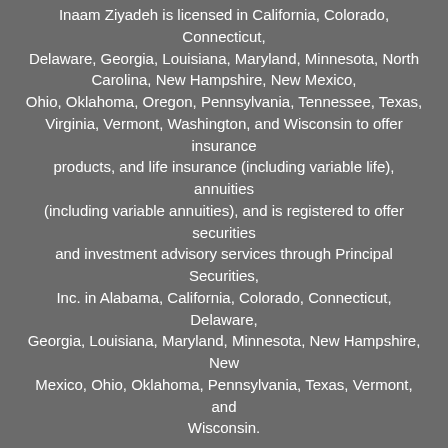Inaam Ziyadeh is licensed in California, Colorado, Connecticut, Delaware, Georgia, Louisiana, Maryland, Minnesota, North Carolina, New Hampshire, New Mexico, Ohio, Oklahoma, Oregon, Pennsylvania, Tennessee, Texas, Virginia, Vermont, Washington, and Wisconsin to offer insurance products, and life insurance (including variable life), annuities (including variable annuities), and is registered to offer securities and investment advisory services through Principal Securities, Inc. in Alabama, California, Colorado, Connecticut, Delaware, Georgia, Louisiana, Maryland, Minnesota, New Hampshire, New Mexico, Ohio, Oklahoma, Pennsylvania, Texas, Vermont, and Wisconsin.
This site is not a solicitation of interest in any of these products in any other state.
IMPORTANT CONSUMER INFORMATION: Inaam Ziyadeh may only transact business in a particular state after licensure or satisfying qualifications requirements of that state, or only if she is excluded or exempted from the state's registration requirements. Follow-up, individualized responses to consumers in a particular state by Inaam's that involve either the